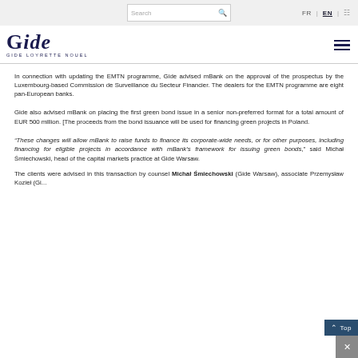Search | FR | EN
[Figure (logo): Gide Loyrette Nouel law firm logo with hamburger menu icon]
In connection with updating the EMTN programme, Gide advised mBank on the approval of the prospectus by the Luxembourg-based Commission de Surveillance du Secteur Financier. The dealers for the EMTN programme are eight pan-European banks.
Gide also advised mBank on placing the first green bond issue in a senior non-preferred format for a total amount of EUR 500 million. [The proceeds from the bond issuance will be used for financing green projects in Poland.
“These changes will allow mBank to raise funds to finance its corporate-wide needs, or for other purposes, including financing for eligible projects in accordance with mBank’s framework for issuing green bonds,” said Michał Śmiechowski, head of the capital markets practice at Gide Warsaw.
The clients were advised in this transaction by counsel Michał Śmiechowski (Gide Warsaw), associate Przemysław Kozieł (Gide...